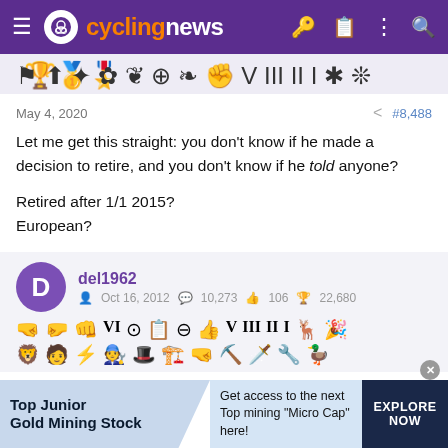cyclingnews
[Figure (illustration): Row of cycling achievement badge icons in dark silhouette style]
May 4, 2020  #8,488
Let me get this straight: you don't know if he made a decision to retire, and you don't know if he told anyone?

Retired after 1/1 2015?
European?
del1962  Oct 16, 2012  10,273  106  22,680
[Figure (illustration): Two rows of cycling achievement badge/trophy icons]
[Figure (infographic): Advertisement banner: Top Junior Gold Mining Stock - Get access to the next Top mining Micro Cap here! EXPLORE NOW]